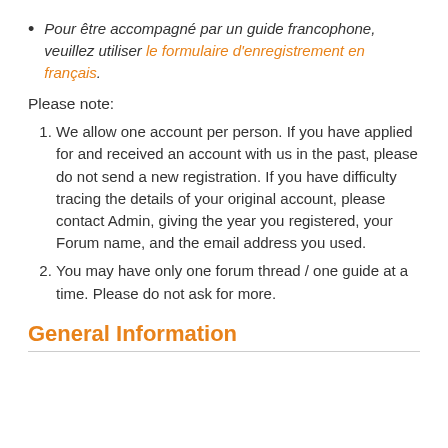Pour être accompagné par un guide francophone, veuillez utiliser le formulaire d'enregistrement en français.
Please note:
We allow one account per person. If you have applied for and received an account with us in the past, please do not send a new registration. If you have difficulty tracing the details of your original account, please contact Admin, giving the year you registered, your Forum name, and the email address you used.
You may have only one forum thread / one guide at a time. Please do not ask for more.
General Information